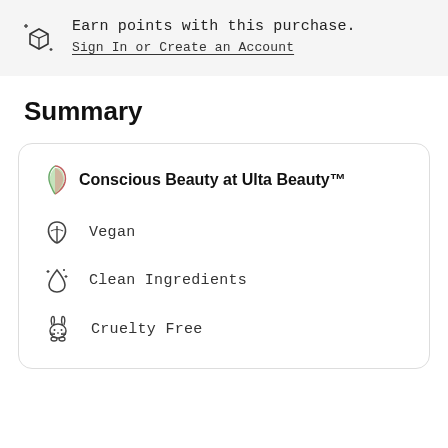Earn points with this purchase.
Sign In or Create an Account
Summary
Conscious Beauty at Ulta Beauty™
Vegan
Clean Ingredients
Cruelty Free